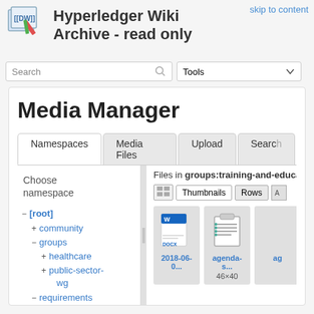skip to content
Hyperledger Wiki Archive - read only
Search
Tools
Media Manager
Namespaces | Media Files | Upload | Search
Files in groups:training-and-educa
Thumbnails  Rows
Choose namespace
− [root]
+ community
− groups
+ healthcare
+ public-sector-wg
− requirements
[Figure (screenshot): DOCX file icon for 2018-06-0... file]
2018-06-0...
[Figure (screenshot): Clipboard/checklist icon for agenda-s... file]
agenda-s...
46×40